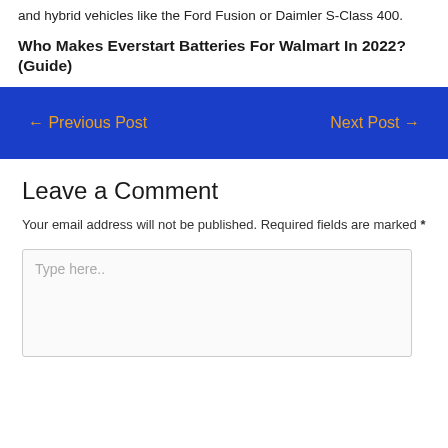and hybrid vehicles like the Ford Fusion or Daimler S-Class 400.
Who Makes Everstart Batteries For Walmart In 2022? (Guide)
← Previous Post
Next Post →
Leave a Comment
Your email address will not be published. Required fields are marked *
Type here..